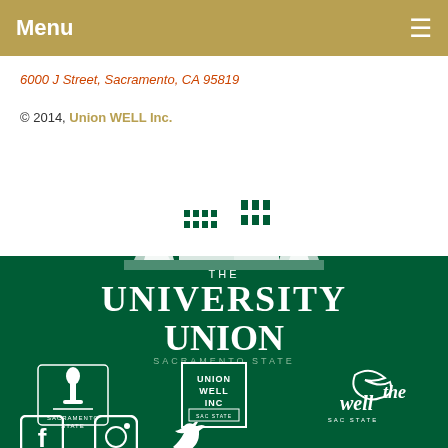Menu
6000 J Street, Sacramento, CA 95819
© 2014, Union WELL Inc.
[Figure (illustration): White line-art illustration of university building with trees against gradient background]
[Figure (logo): The University Union Sacramento State logo in white text on dark green background]
[Figure (logo): Three logos: Sacramento State torch logo, Union Well Inc. box logo, The Well Sac State logo]
[Figure (logo): Social media icons: Facebook, Instagram, Twitter]